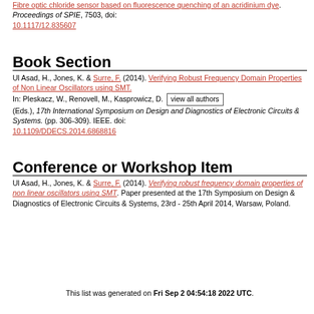Fibre optic chloride sensor based on fluorescence quenching of an acridinium dye. Proceedings of SPIE, 7503, doi: 10.1117/12.835607
Book Section
Ul Asad, H., Jones, K. & Surre, F. (2014). Verifying Robust Frequency Domain Properties of Non Linear Oscillators using SMT. In: Pleskacz, W., Renovell, M., Kasprowicz, D. [view all authors] (Eds.), 17th International Symposium on Design and Diagnostics of Electronic Circuits & Systems. (pp. 306-309). IEEE. doi: 10.1109/DDECS.2014.6868816
Conference or Workshop Item
Ul Asad, H., Jones, K. & Surre, F. (2014). Verifying robust frequency domain properties of non linear oscillators using SMT. Paper presented at the 17th Symposium on Design & Diagnostics of Electronic Circuits & Systems, 23rd - 25th April 2014, Warsaw, Poland.
This list was generated on Fri Sep 2 04:54:18 2022 UTC.